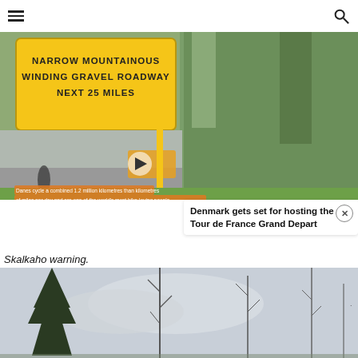☰  [site title]  🔍
[Figure (photo): Top collage: yellow road sign reading 'NARROW MOUNTAINOUS WINDING GRAVEL ROADWAY NEXT 25 MILES' on the left; a video player thumbnail showing a cyclist on a city street (Denmark cycling scene) with subtitles on the right, overlaid with green grass background at bottom.]
Denmark gets set for hosting the Tour de France Grand Depart
Skalkaho warning.
[Figure (photo): Photo of bare and coniferous trees against a cloudy grey sky — Skalkaho area landscape.]